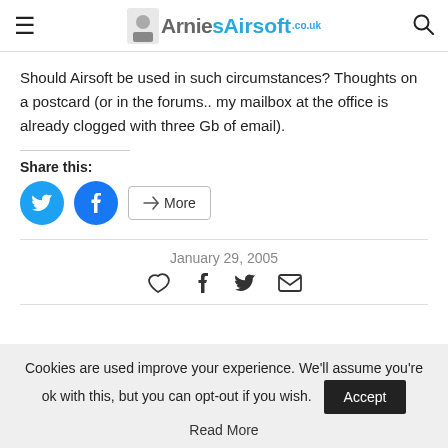ArniesAirsoft.co.uk
Should Airsoft be used in such circumstances? Thoughts on a postcard (or in the forums.. my mailbox at the office is already clogged with three Gb of email).
Share this:
[Figure (other): Share buttons: Twitter (blue circle), Facebook (blue circle), More button]
January 29, 2005
[Figure (other): Reaction icons: heart, Facebook, Twitter, email]
Cookies are used improve your experience. We'll assume you're ok with this, but you can opt-out if you wish. Accept Read More